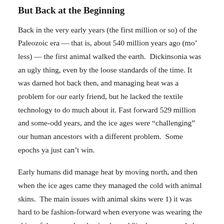But Back at the Beginning
Back in the very early years (the first million or so) of the Paleozoic era — that is, about 540 million years ago (mo’ less) — the first animal walked the earth. Dickinsonia was an ugly thing, even by the loose standards of the time. It was darned hot back then, and managing heat was a problem for our early friend, but he lacked the textile technology to do much about it. Fast forward 529 million and some-odd years, and the ice ages were “challenging” our human ancestors with a different problem. Some epochs ya just can’t win.
Early humans did manage heat by moving north, and then when the ice ages came they managed the cold with animal skins. The main issues with animal skins were 1) it was hard to be fashion-forward when everyone was wearing the skins of the same local animals, and 2) when you needed a new cost you literally had to